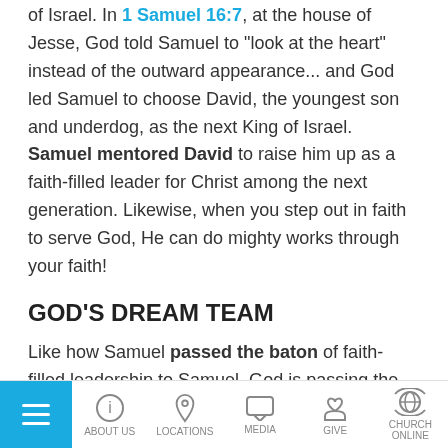Samuel's mission from God was to find the next King of Israel. In 1 Samuel 16:7, at the house of Jesse, God told Samuel to "look at the heart" instead of the outward appearance... and God led Samuel to choose David, the youngest son and underdog, as the next King of Israel. Samuel mentored David to raise him up as a faith-filled leader for Christ among the next generation. Likewise, when you step out in faith to serve God, He can do mighty works through your faith!
GOD'S DREAM TEAM
Like how Samuel passed the baton of faith-filled leadership to Samuel, God is passing the baton to the modern church to be heroes of faith for the next generation of believers in 2019. It's like God has a Dream Team for the ages running a relay race....
ABOUT US | LOCATIONS | MEDIA | GIVE | CHURCH ONLINE